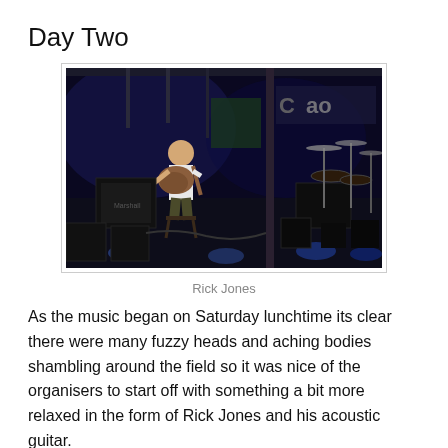Day Two
[Figure (photo): A guitarist performing on a dark stage with drum kit and amplifiers in background, venue signage visible]
Rick Jones
As the music began on Saturday lunchtime its clear there were many fuzzy heads and aching bodies shambling around the field so it was nice of the organisers to start off with something a bit more relaxed in the form of Rick Jones and his acoustic guitar.
This seems to have become a traditional slot for